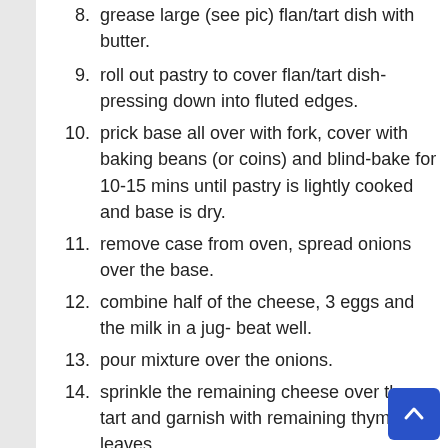8. grease large (see pic) flan/tart dish with butter.
9. roll out pastry to cover flan/tart dish- pressing down into fluted edges.
10. prick base all over with fork, cover with baking beans (or coins) and blind-bake for 10-15 mins until pastry is lightly cooked and base is dry.
11. remove case from oven, spread onions over the base.
12. combine half of the cheese, 3 eggs and the milk in a jug- beat well.
13. pour mixture over the onions.
14. sprinkle the remaining cheese over the tart and garnish with remaining thyme leaves.
15. bake for 30-40 mins until set and top is